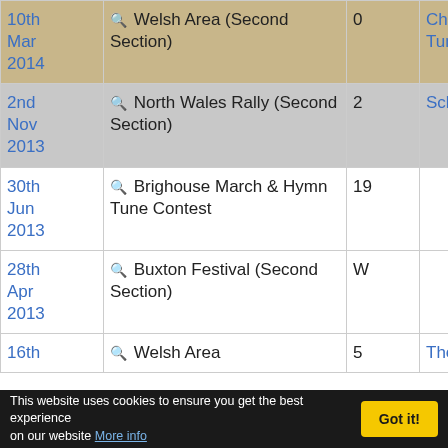| Date | Event | Position | Piece | Extra |
| --- | --- | --- | --- | --- |
| 10th Mar 2014 | Welsh Area (Second Section) | 0 | Chaucer's Tunes |  |
| 2nd Nov 2013 | North Wales Rally (Second Section) | 2 | Scheherazade |  |
| 30th Jun 2013 | Brighouse March & Hymn Tune Contest | 19 |  |  |
| 28th Apr 2013 | Buxton Festival (Second Section) | W |  |  |
| 16th | Welsh Area | 5 | The | 1 |
This website uses cookies to ensure you get the best experience on our website More info